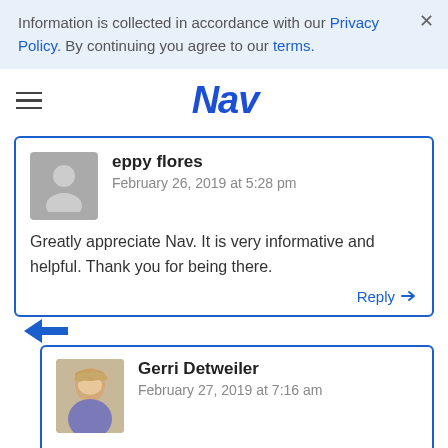Information is collected in accordance with our Privacy Policy. By continuing you agree to our terms.
[Figure (logo): Nav logo with hamburger menu]
eppy flores
February 26, 2019 at 5:28 pm
Greatly appreciate Nav. It is very informative and helpful. Thank you for being there.
Reply
Gerri Detweiler
February 27, 2019 at 7:16 am